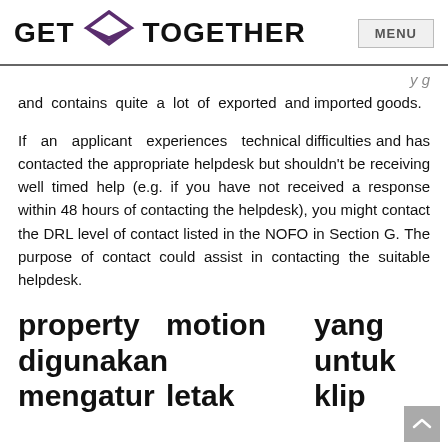GET TOGETHER  MENU
and contains quite a lot of exported and imported goods.
If an applicant experiences technical difficulties and has contacted the appropriate helpdesk but shouldn't be receiving well timed help (e.g. if you have not received a response within 48 hours of contacting the helpdesk), you might contact the DRL level of contact listed in the NOFO in Section G. The purpose of contact could assist in contacting the suitable helpdesk.
property motion yang digunakan  untuk mengatur letak klip